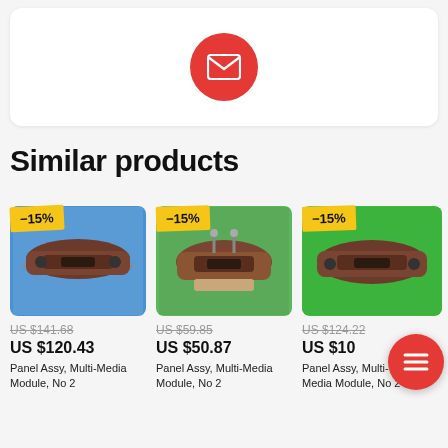[Figure (illustration): White card with red circle email icon in the center]
Similar products
[Figure (photo): Auto part - Panel Assy, Multi-Media Module on blue background with -15% discount badge. Old price US $141.68, new price US $120.43]
[Figure (photo): Auto part - Panel Assy, Multi-Media Module on green background with -15% discount badge. Old price US $59.85, new price US $50.87]
[Figure (photo): Auto part - Panel Assy, Multi-Media Module on bright green background with -15% discount badge. Old price US $124.22, new price US $10x]
Panel Assy, Multi-Media Module, No 2
Panel Assy, Multi-Media Module, No 2
Panel Assy, Multi-Media Module, No 2